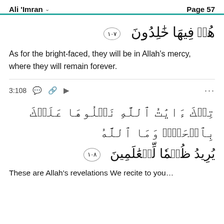Ali 'Imran   Page 57
هُمۡ فِيهَا خَٰلِدُونَ ۝١٠٧
As for the bright-faced, they will be in Allah's mercy, where they will remain forever.
3:108
تِلۡكَ ءَايَٰتُ ٱللَّهِ نَتۡلُوهَا عَلَيۡكَ بِٱلۡحَقِّۗ وَمَا ٱللَّهُ يُرِيدُ ظُلۡمٗا لِّلۡعَٰلَمِينَ ۝١٠٨
These are Allah's revelations We recite to you…